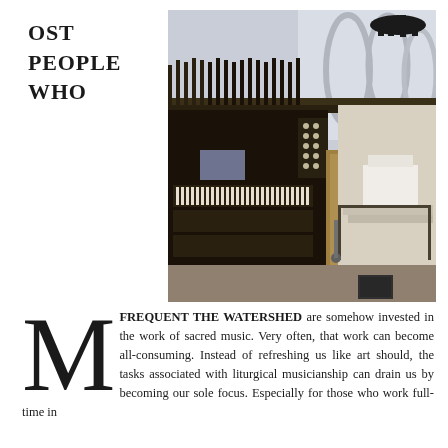OST
PEOPLE
WHO
[Figure (photo): Interior of a cathedral showing a large pipe organ console with multiple keyboards and stops in the foreground, with gothic arches, a chancel, and altar visible in the background.]
MOST PEOPLE WHO FREQUENT THE WATERSHED are somehow invested in the work of sacred music. Very often, that work can become all-consuming. Instead of refreshing us like art should, the tasks associated with liturgical musicianship can drain us by becoming our sole focus. Especially for those who work full-time in